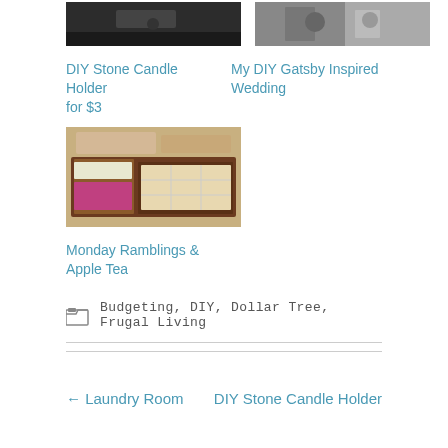[Figure (photo): Dark photo thumbnail for DIY Stone Candle Holder post]
DIY Stone Candle Holder for $3
[Figure (photo): Wedding photo thumbnail for My DIY Gatsby Inspired Wedding post]
My DIY Gatsby Inspired Wedding
[Figure (photo): Desk/workspace photo thumbnail for Monday Ramblings & Apple Tea post]
Monday Ramblings & Apple Tea
Budgeting, DIY, Dollar Tree, Frugal Living
← Laundry Room
DIY Stone Candle Holder